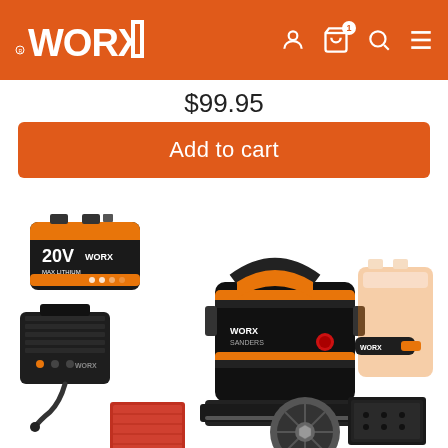WORX header with logo and navigation icons (user, cart with badge 1, search, menu)
$99.95
Add to cart
[Figure (photo): WORX 20V sander kit product photo showing the sander tool, a 20V battery pack, battery charger, and various sanding pad attachments including triangular and round pads]